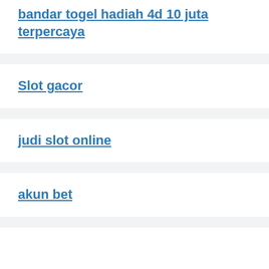bandar togel hadiah 4d 10 juta terpercaya
Slot gacor
judi slot online
akun bet